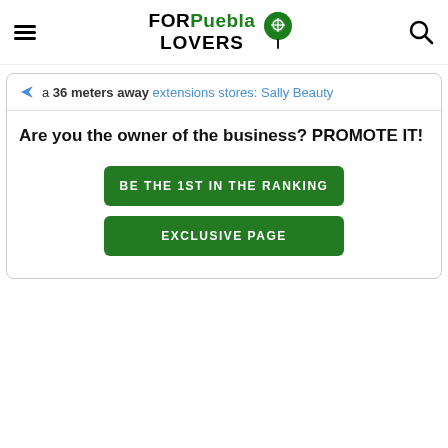FORPuebla LOVERS
a 36 meters away extensions stores: Sally Beauty
Are you the owner of the business? PROMOTE IT!
BE THE 1ST IN THE RANKING
EXCLUSIVE PAGE